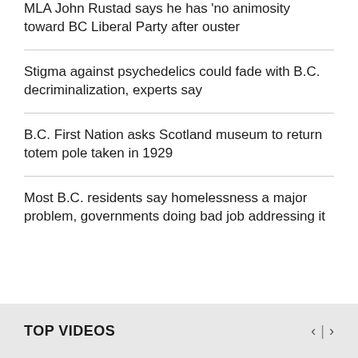MLA John Rustad says he has 'no animosity toward BC Liberal Party after ouster
Stigma against psychedelics could fade with B.C. decriminalization, experts say
B.C. First Nation asks Scotland museum to return totem pole taken in 1929
Most B.C. residents say homelessness a major problem, governments doing bad job addressing it
TOP VIDEOS